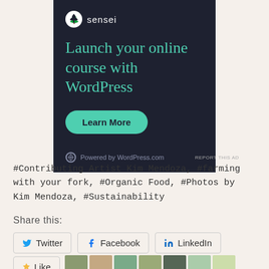[Figure (infographic): Sensei advertisement banner on dark navy background. Shows Sensei logo (circle with tree icon and 'sensei' text), headline 'Launch your online course with WordPress', a teal 'Learn More' button, and 'Powered by WordPress.com' footer text.]
REPORT THIS AD
#Contributing Artist Kim Mendoza, #farming with your fork, #Organic Food, #Photos by Kim Mendoza, #Sustainability
Share this:
Twitter  Facebook  LinkedIn
[Figure (infographic): Like button with star icon and avatar thumbnails of people]